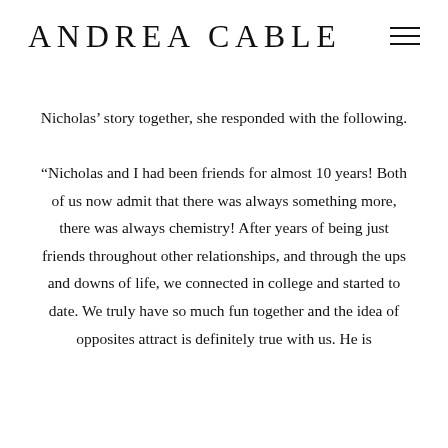ANDREA CABLE
Nicholas’ story together, she responded with the following.
“Nicholas and I had been friends for almost 10 years! Both of us now admit that there was always something more, there was always chemistry! After years of being just friends throughout other relationships, and through the ups and downs of life, we connected in college and started to date. We truly have so much fun together and the idea of opposites attract is definitely true with us. He is